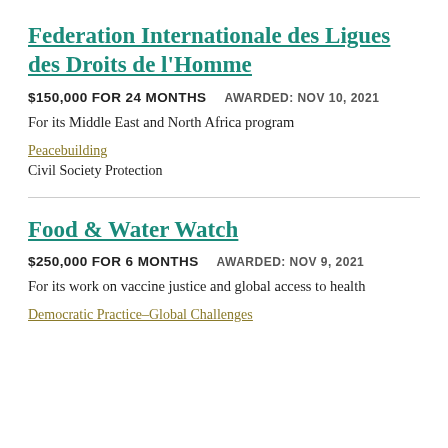Federation Internationale des Ligues des Droits de l'Homme
$150,000 FOR 24 MONTHS    AWARDED: NOV 10, 2021
For its Middle East and North Africa program
Peacebuilding
Civil Society Protection
Food & Water Watch
$250,000 FOR 6 MONTHS    AWARDED: NOV 9, 2021
For its work on vaccine justice and global access to health
Democratic Practice–Global Challenges